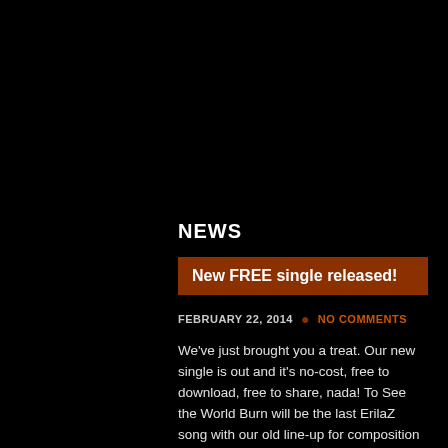NEWS
New FREE single released!
FEBRUARY 22, 2014  •  NO COMMENTS
We've just brought you a treat. Our new single is out and it's no-cost, free to download, free to share, nada! To See the World Burn will be the last ErilaZ song with our old line-up for composition – ErilaZ and Proteus. After this fucker, we're entering whole[…]